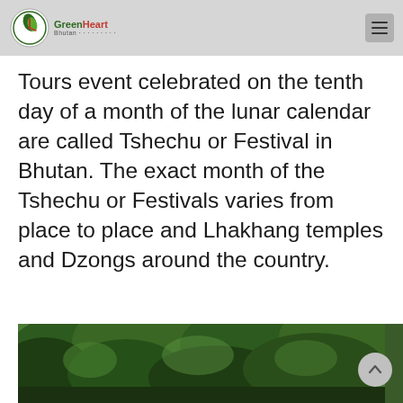GreenHeart Bhutan — navigation bar with logo and hamburger menu
Tours event celebrated on the tenth day of a month of the lunar calendar are called Tshechu or Festival in Bhutan. The exact month of the Tshechu or Festivals varies from place to place and Lhakhang temples and Dzongs around the country.
[Figure (photo): Partial photo of a forested/green landscape, cut off at the bottom of the page]